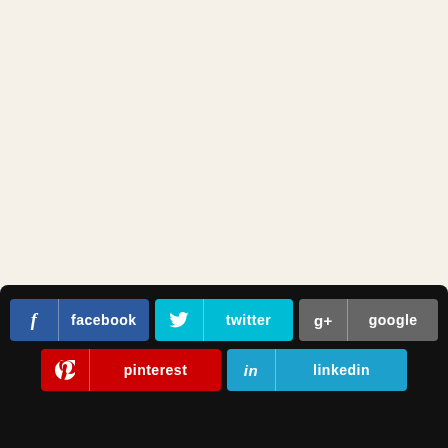[Figure (screenshot): Social media sharing buttons panel on dark background: facebook (dark blue), twitter (cyan), google (gray), pinterest (red), linkedin (cyan). Below is an image with text 'For the very first time Andrew realized that life, real life, had no']
For the very first time Andrew realized that life, real life, had no